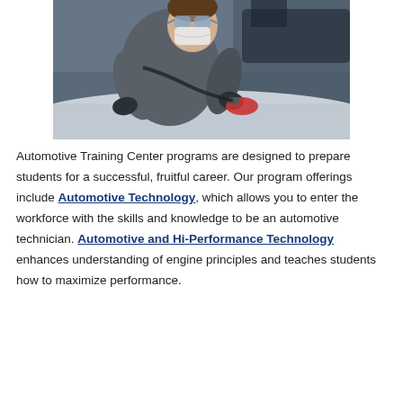[Figure (photo): A masked auto body technician wearing safety goggles and gray work clothes using a pneumatic orbital sander on a vehicle surface in a workshop setting.]
Automotive Training Center programs are designed to prepare students for a successful, fruitful career. Our program offerings include Automotive Technology, which allows you to enter the workforce with the skills and knowledge to be an automotive technician. Automotive and Hi-Performance Technology enhances understanding of engine principles and teaches students how to maximize performance.